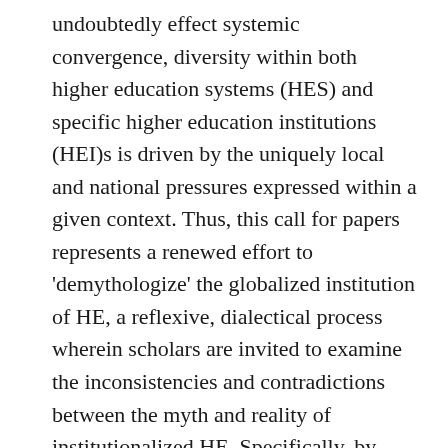undoubtedly effect systemic convergence, diversity within both higher education systems (HES) and specific higher education institutions (HEI)s is driven by the uniquely local and national pressures expressed within a given context. Thus, this call for papers represents a renewed effort to 'demythologize' the globalized institution of HE, a reflexive, dialectical process wherein scholars are invited to examine the inconsistencies and contradictions between the myth and reality of institutionalized HE. Specifically, by addressing longstanding and recurrent myths surrounding the global institution of he, we hope to engage in what Woodman describes as an 'out-of-bounds' process of separating fact from fiction